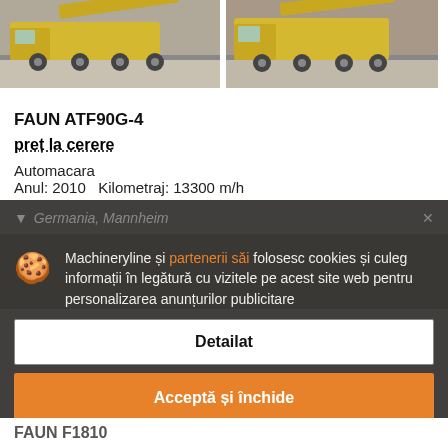[Figure (photo): Two photos of a FAUN ATF90G-4 mobile crane truck on a paved lot, viewed from the side.]
FAUN ATF90G-4
preț la cerere
Automacara
Anul: 2010   Kilometraj: 13300 m/h
Germania, Mannheim
Machineryline și partenerii săi folosesc cookies și culeg informații în legătură cu vizitele pe acest site web pentru personalizarea anunțurilor publicitare
Detailat
Acceptă și închide
FAUN F1810